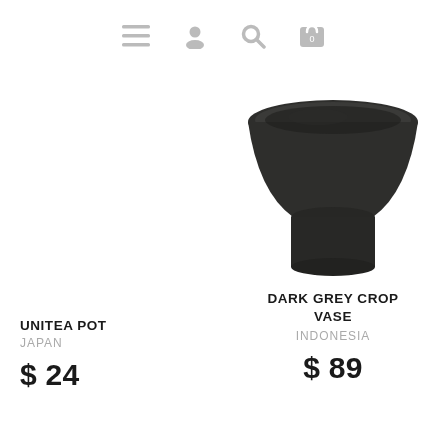Navigation bar with menu, account, search, and cart (0) icons
[Figure (photo): Dark grey ceramic crop vase with a wide bowl top and narrow cylindrical base, photographed on white background]
DARK GREY CROP VASE
INDONESIA
$ 89
UNITEA POT
JAPAN
$ 24